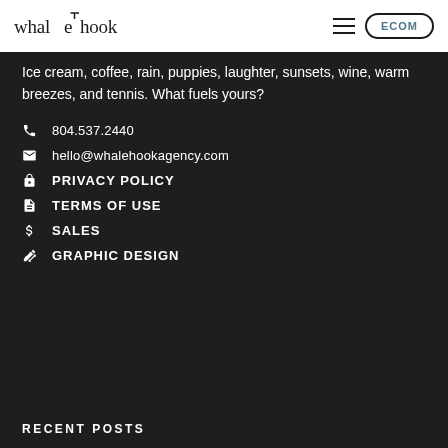whalehook | ECOM
Ice cream, coffee, rain, puppies, laughter, sunsets, wine, warm breezes, and tennis. What fuels yours?
804.537.2440
hello@whalehookagency.com
PRIVACY POLICY
TERMS OF USE
SALES
GRAPHIC DESIGN
RECENT POSTS